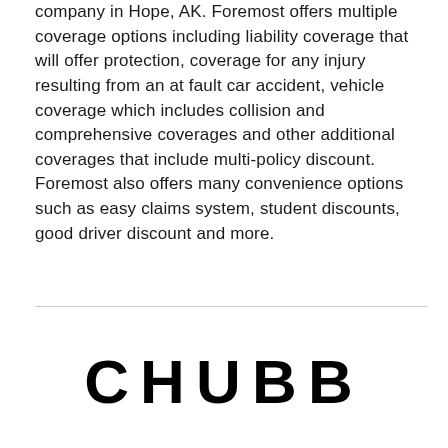company in Hope, AK. Foremost offers multiple coverage options including liability coverage that will offer protection, coverage for any injury resulting from an at fault car accident, vehicle coverage which includes collision and comprehensive coverages and other additional coverages that include multi-policy discount. Foremost also offers many convenience options such as easy claims system, student discounts, good driver discount and more.
[Figure (logo): CHUBB logo in large bold black uppercase letters]